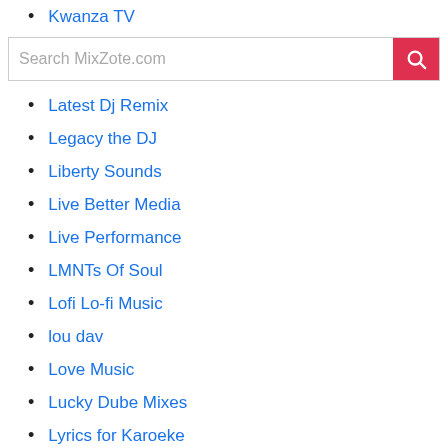Kwanza TV
Search MixZote.com
Latest Dj Remix
Legacy the DJ
Liberty Sounds
Live Better Media
Live Performance
LMNTs Of Soul
Lofi Lo-fi Music
lou dav
Love Music
Lucky Dube Mixes
Lyrics for Karoeke
Magical Mystery Mix
Malayalam Movie
Malayalam Troll